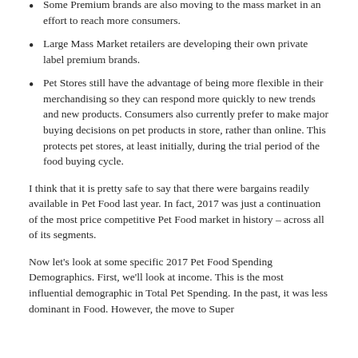Some Premium brands are also moving to the mass market in an effort to reach more consumers.
Large Mass Market retailers are developing their own private label premium brands.
Pet Stores still have the advantage of being more flexible in their merchandising so they can respond more quickly to new trends and new products. Consumers also currently prefer to make major buying decisions on pet products in store, rather than online. This protects pet stores, at least initially, during the trial period of the food buying cycle.
I think that it is pretty safe to say that there were bargains readily available in Pet Food last year. In fact, 2017 was just a continuation of the most price competitive Pet Food market in history – across all of its segments.
Now let's look at some specific 2017 Pet Food Spending Demographics. First, we'll look at income. This is the most influential demographic in Total Pet Spending. In the past, it was less dominant in Food. However, the move to Super